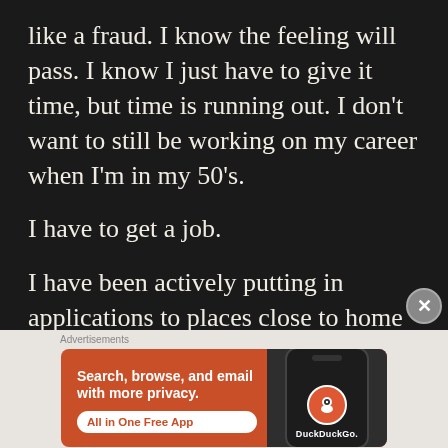like a fraud. I know the feeling will pass. I know I just have to give it time, but time is running out. I don't want to still be working on my career when I'm in my 50's.
I have to get a job.
I have been actively putting in applications to places close to home because I'm not making any money.
[Figure (other): DuckDuckGo advertisement banner with orange background. Text reads: Search, browse, and email with more privacy. All in One Free App. Shows a phone with DuckDuckGo logo.]